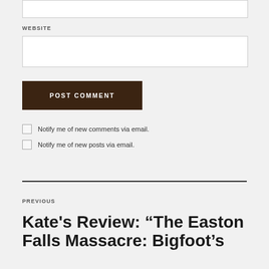WEBSITE
POST COMMENT
Notify me of new comments via email.
Notify me of new posts via email.
PREVIOUS
Kate's Review: “The Easton Falls Massacre: Bigfoot’s